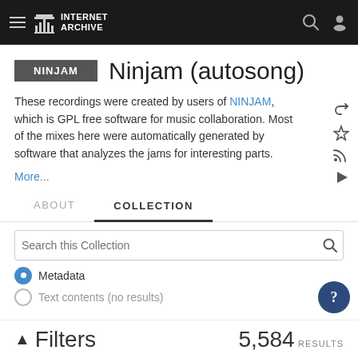INTERNET ARCHIVE
Ninjam (autosong)
These recordings were created by users of NINJAM, which is GPL free software for music collaboration. Most of the mixes here were automatically generated by software that analyzes the jams for interesting parts.
More...
ABOUT   COLLECTION
Search this Collection
Metadata
Text contents (no results)
Filters   5,584 RESULTS